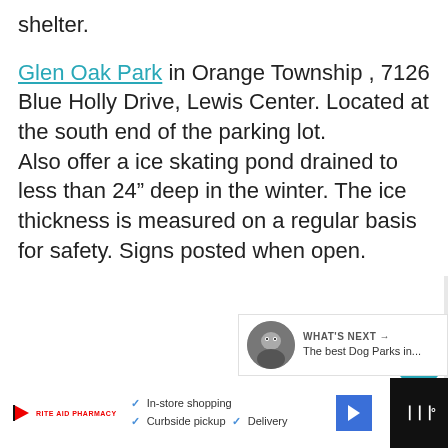shelter.
Glen Oak Park in Orange Township , 7126 Blue Holly Drive, Lewis Center. Located at the south end of the parking lot. Also offer a ice skating pond drained to less than 24" deep in the winter. The ice thickness is measured on a regular basis for safety. Signs posted when open.
[Figure (other): Circular teal heart icon button]
[Figure (other): Circular white share icon button]
WHAT'S NEXT → The best Dog Parks in...
In-store shopping  Curbside pickup  Delivery